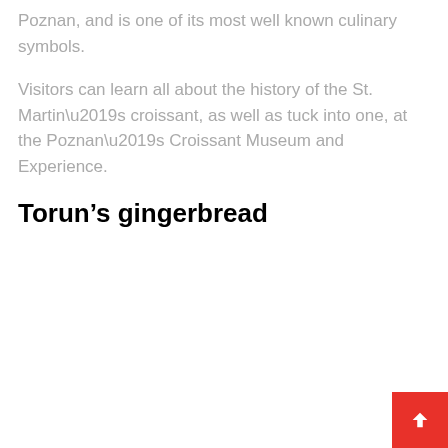Poznan, and is one of its most well known culinary symbols.
Visitors can learn all about the history of the St. Martin’s croissant, as well as tuck into one, at the Poznan’s Croissant Museum and Experience.
Torun’s gingerbread